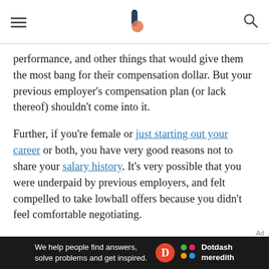The Balance (logo with hamburger menu and search icon)
performance, and other things that would give them the most bang for their compensation dollar. But your previous employer's compensation plan (or lack thereof) shouldn't come into it.
Further, if you're female or just starting out your career or both, you have very good reasons not to share your salary history. It's very possible that you were underpaid by previous employers, and felt compelled to take lowball offers because you didn't feel comfortable negotiating.
If a hiring manager tries to get you to give your salary history, you can turn the question on its head by
[Figure (screenshot): Advertisement banner for Dotdash Meredith: 'We help people find answers, solve problems and get inspired.' with Dotdash D logo and Dotdash Meredith branding on dark background]